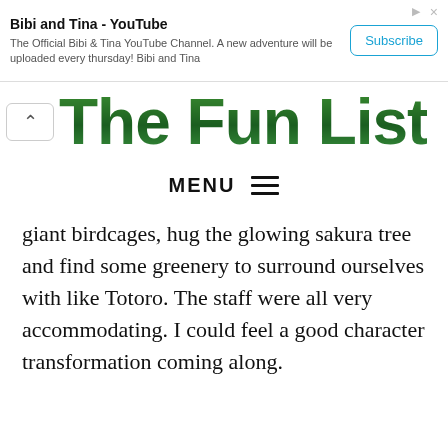[Figure (screenshot): YouTube advertisement banner for 'Bibi and Tina' channel with Subscribe button]
[Figure (screenshot): Partially visible green stylized website logo text reading 'The Fun List' with chevron/back button]
MENU
giant birdcages, hug the glowing sakura tree and find some greenery to surround ourselves with like Totoro. The staff were all very accommodating. I could feel a good character transformation coming along.